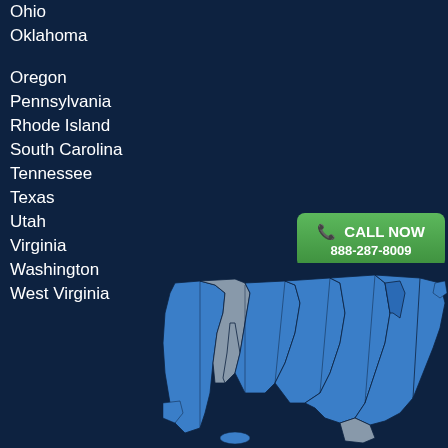Ohio
Oklahoma
Oregon
Pennsylvania
Rhode Island
South Carolina
Tennessee
Texas
Utah
Virginia
Washington
West Virginia
CALL NOW 888-287-8009
REQUEST CALLBACK
BOOK ONLINE
TO ORDER PARTS 877-298-2785 Same Day Shipping
[Figure (map): Map of the United States showing service areas highlighted in blue, with some states in grey]